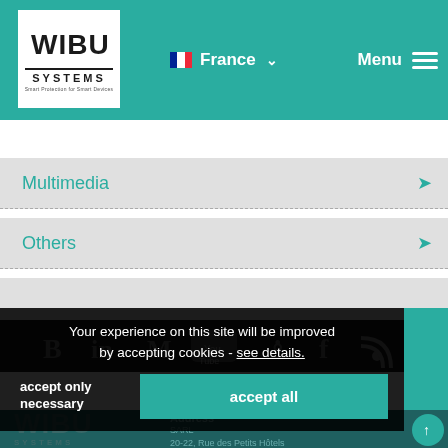WIBU SYSTEMS — France — Menu
Multimedia
Others
[Figure (infographic): Social media icons: Behance, LinkedIn, Xing, YouTube, Twitter, Facebook, RSS]
Your experience on this site will be improved by accepting cookies - see details.
accept only necessary
accept all
WIBU SYSTEMS — Address — SARL — 20-22, Rue des Petits Hôtels — 75010 Paris